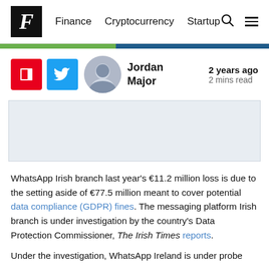F  Finance  Cryptocurrency  Startup
[Figure (illustration): Color bar divider: green on left, dark blue on right]
Jordan Major  2 years ago  2 mins read
[Figure (illustration): Gray advertisement placeholder box]
WhatsApp Irish branch last year’s €11.2 million loss is due to the setting aside of €77.5 million meant to cover potential data compliance (GDPR) fines. The messaging platform Irish branch is under investigation by the country’s Data Protection Commissioner, The Irish Times reports.
Under the investigation, WhatsApp Ireland is under probe